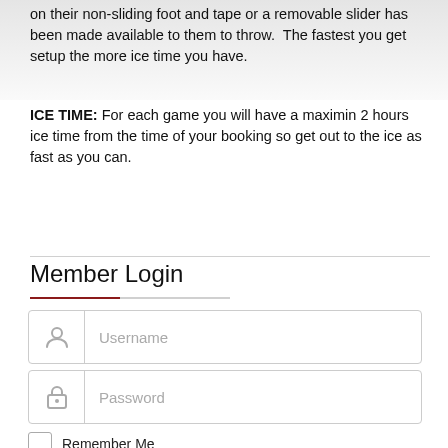on their non-sliding foot and tape or a removable slider has been made available to them to throw.  The fastest you get setup the more ice time you have.
ICE TIME: For each game you will have a maximin 2 hours ice time from the time of your booking so get out to the ice as fast as you can.
Member Login
Username
Password
Remember Me